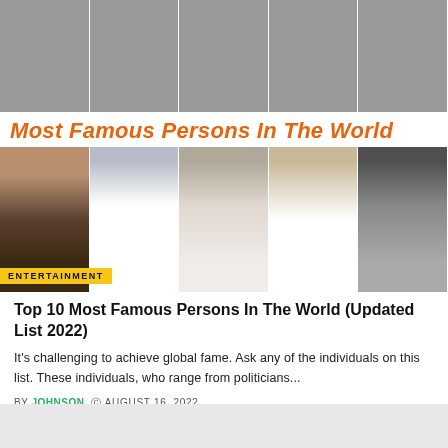[Figure (photo): Top collage of five famous persons: Joe Biden, Bill Gates, Donald Trump, Elon Musk, and Dwayne Johnson arranged side by side]
Most Famous Persons In The World
[Figure (photo): Bottom collage of five famous persons: Nelson Mandela, Pope Francis, Mahatma Gandhi, Elon Musk, and Steve Jobs arranged side by side. An ENTERTAINMENT label overlay appears at bottom left.]
ENTERTAINMENT
Top 10 Most Famous Persons In The World (Updated List 2022)
It's challenging to achieve global fame. Ask any of the individuals on this list. These individuals, who range from politicians...
BY JOHNSON  © AUGUST 16, 2022